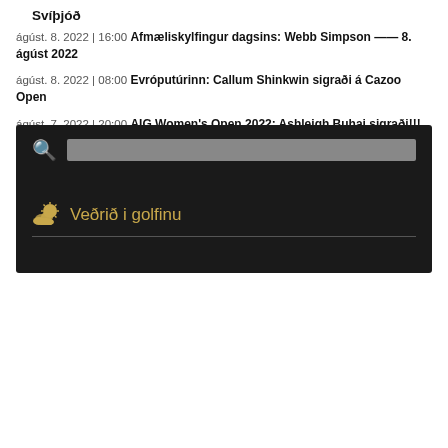Svíþjóð
ágúst. 8. 2022 | 16:00 Afmæliskylfingur dagsins: Webb Simpson —— 8. ágúst 2022
ágúst. 8. 2022 | 08:00 Evróputúrinn: Callum Shinkwin sigraði á Cazoo Open
ágúst. 7. 2022 | 20:00 AIG Women's Open 2022: Ashleigh Buhai sigraði!!!
ágúst. 7. 2022 | 17:30 Íslandsmótið 2022: Kristján Þór og Perla Sól Íslandsmeistarar 2022!!!
ágúst. 7. 2022 | 16:00 Afmæliskylfingur dagsins: Andri Páll Ásgeirsson – 7. ágúst 2022
ágúst. 7. 2022 | 15:15 Áskorendamótaröð Evrópu: Guðmundur Ágúst lauk keppni T-3 og Bjarki T-35 á Vierumäki Finnish Challenge
[Figure (screenshot): Dark UI widget with a golden search icon, a grey search bar, and 'Veðrið i golfinu' weather section with golden cloud/sun icon and a horizontal divider line]